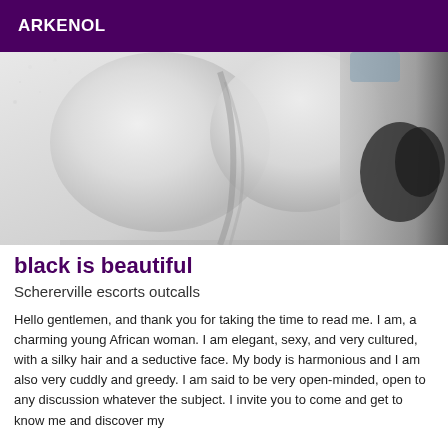ARKENOL
[Figure (photo): Close-up photo of a person, predominantly white/light tones with dark elements on the right side]
black is beautiful
Schererville escorts outcalls
Hello gentlemen, and thank you for taking the time to read me. I am, a charming young African woman. I am elegant, sexy, and very cultured, with a silky hair and a seductive face. My body is harmonious and I am also very cuddly and greedy. I am said to be very open-minded, open to any discussion whatever the subject. I invite you to come and get to know me and discover my